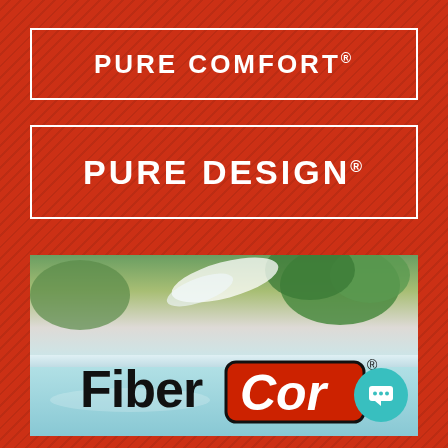PURE COMFORT®
PURE DESIGN®
[Figure (photo): Hot tub/spa product photo with water features and greenery in the background, overlaid with the FiberCor® logo (black text 'Fiber' and 'Cor' in white italic on a red rounded rectangle badge), and a teal chat button in the bottom right corner.]